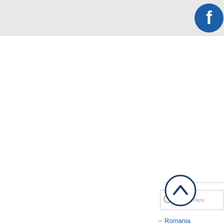[Figure (logo): Facebook logo icon - blue circle with white 'f']
[Figure (other): Search input box with magnifying glass icon and placeholder text 'Search here']
Romania
Adamklissi Tro...
Alba Iulia
Apuseni Natur...
Barsа... urc...
Bicaz Gorges N...
[Figure (illustration): Scroll to top button - circle with upward chevron arrow, dark navy border]